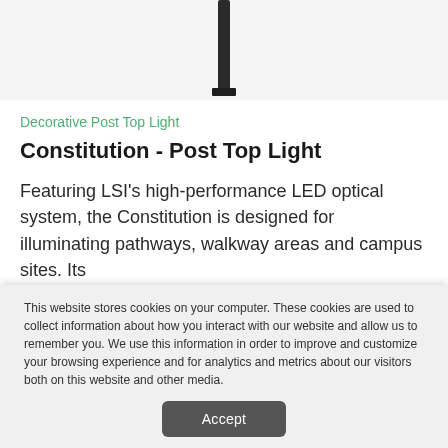[Figure (photo): Decorative post top light pole product image, dark/black cylindrical pole shown from top portion]
Decorative Post Top Light
Constitution - Post Top Light
Featuring LSI’s high-performance LED optical system, the Constitution is designed for illuminating pathways, walkway areas and campus sites. Its
This website stores cookies on your computer. These cookies are used to collect information about how you interact with our website and allow us to remember you. We use this information in order to improve and customize your browsing experience and for analytics and metrics about our visitors both on this website and other media.